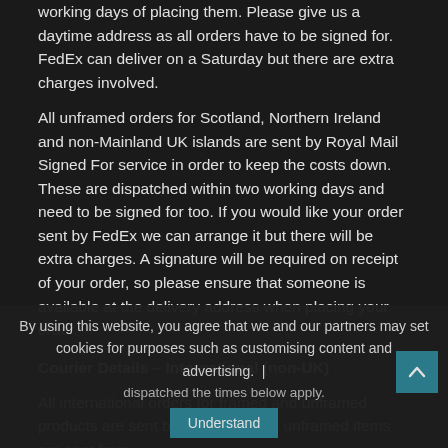working days of placing them. Please give us a daytime address as all orders have to be signed for. FedEx can deliver on a Saturday but there are extra charges involved.
All unframed orders for Scotland, Northern Ireland and non-Mainland UK islands are sent by Royal Mail Signed For service in order to keep the costs down. These are dispatched within two working days and need to be signed for too. If you would like your order sent by FedEx we can arrange it but there will be extra charges. A signature will be required on receipt of your order, so please ensure that someone is available at the delivery address when placing your order.
Courier Details – International (non-UK)
All international orders for framed and unframed products are sent by FedEx. Again, unframed items are sent from ... dispatched the times below apply.
By using this website, you agree that we and our partners may set cookies for purposes such as customising content and advertising. | Understand